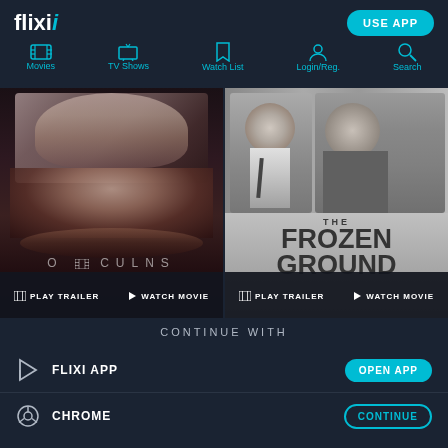[Figure (screenshot): Flixi streaming website navigation bar with logo, USE APP button, and nav icons for Movies, TV Shows, Watch List, Login/Reg., and Search]
[Figure (photo): Oculus movie poster - dark image of a woman covering her eyes with hands, with OCULUS text and PLAY TRAILER / WATCH MOVIE buttons]
[Figure (photo): The Frozen Ground movie poster - black and white image of two men, title THE FROZEN GROUND, with PLAY TRAILER / WATCH MOVIE buttons]
CONTINUE WITH
FLIXI APP
OPEN APP
CHROME
CONTINUE